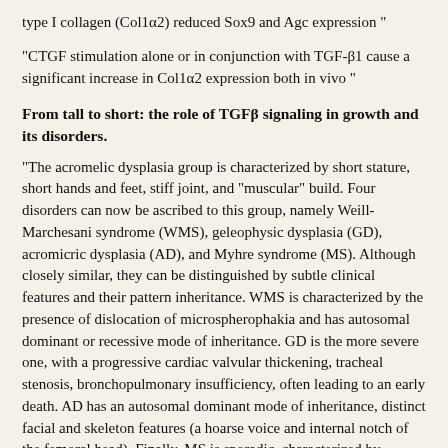type I collagen (Col1α2) reduced Sox9 and Agc expression "
"CTGF stimulation alone or in conjunction with TGF-β1 cause a significant increase in Col1α2 expression both in vivo "
From tall to short: the role of TGFβ signaling in growth and its disorders.
"The acromelic dysplasia group is characterized by short stature, short hands and feet, stiff joint, and "muscular" build. Four disorders can now be ascribed to this group, namely Weill-Marchesani syndrome (WMS), geleophysic dysplasia (GD), acromicric dysplasia (AD), and Myhre syndrome (MS). Although closely similar, they can be distinguished by subtle clinical features and their pattern inheritance. WMS is characterized by the presence of dislocation of microspherophakia and has autosomal dominant or recessive mode of inheritance. GD is the more severe one, with a progressive cardiac valvular thickening, tracheal stenosis, bronchopulmonary insufficiency, often leading to an early death. AD has an autosomal dominant mode of inheritance, distinct facial and skeleton features (a hoarse voice and internal notch of the femoral head). Finally, MS is sporadic, characterized by